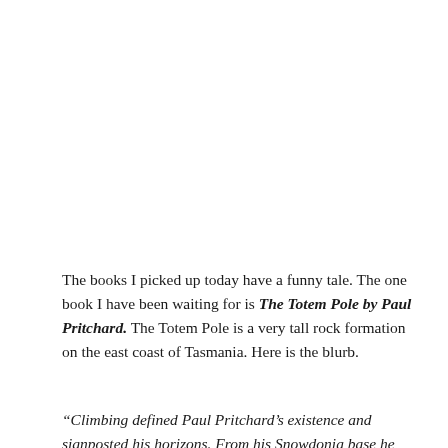The books I picked up today have a funny tale.  The one book I have been waiting for is The Totem Pole by Paul Pritchard. The Totem Pole is a very tall rock formation on the east coast of Tasmania. Here is the blurb.
“Climbing defined Paul Pritchard’s existence and signposted his horizons. From his Snowdonia base he gained a reputation for